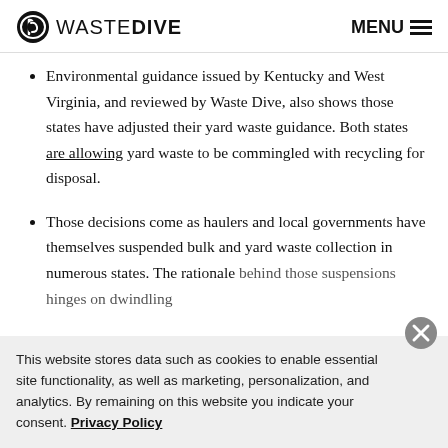WASTE DIVE  MENU
Environmental guidance issued by Kentucky and West Virginia, and reviewed by Waste Dive, also shows those states have adjusted their yard waste guidance. Both states are allowing yard waste to be commingled with recycling for disposal.
Those decisions come as haulers and local governments have themselves suspended bulk and yard waste collection in numerous states. The rationale behind those suspensions hinges on dwindling
This website stores data such as cookies to enable essential site functionality, as well as marketing, personalization, and analytics. By remaining on this website you indicate your consent. Privacy Policy